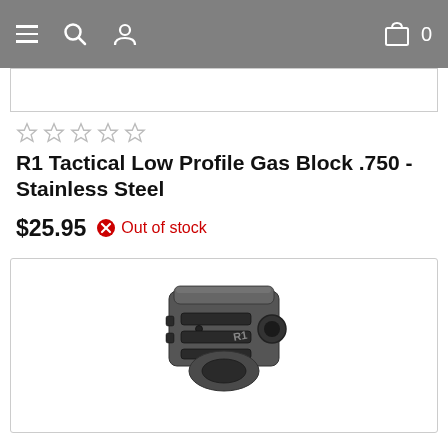Navigation bar with hamburger menu, search, profile, cart (0)
[Figure (photo): Top portion of a product image (cropped), white background with border]
[Figure (other): Five empty star rating icons (no fill)]
R1 Tactical Low Profile Gas Block .750 - Stainless Steel
$25.95  Out of stock
[Figure (photo): Photo of R1 Tactical Low Profile Gas Block .750 Stainless Steel gun part, dark gray metallic component with cylindrical bore and ventilation slots, branded with R1 logo, on white background with light gray border]